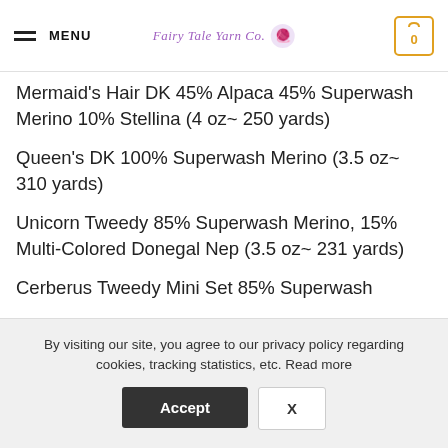MENU | Fairy Tale Yarn Co. | 0
Mermaid's Hair DK 45% Alpaca 45% Superwash Merino 10% Stellina (4 oz~ 250 yards)
Queen's DK 100% Superwash Merino (3.5 oz~ 310 yards)
Unicorn Tweedy 85% Superwash Merino, 15% Multi-Colored Donegal Nep (3.5 oz~ 231 yards)
Cerberus Tweedy Mini Set 85% Superwash
By visiting our site, you agree to our privacy policy regarding cookies, tracking statistics, etc. Read more
Accept  X